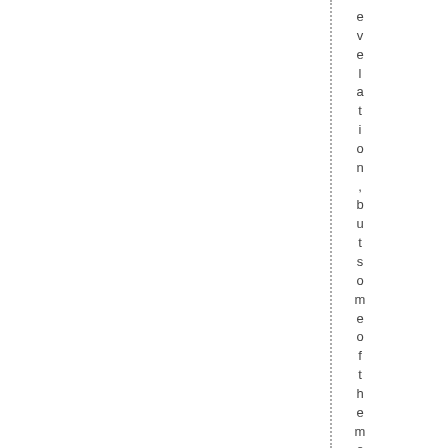evelation, but some of the most inte